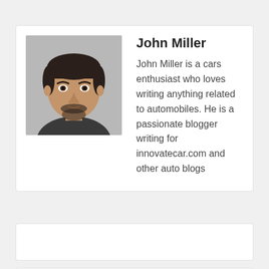[Figure (photo): Headshot photo of a man with dark hair and beard, wearing a dark shirt, against a light gray background]
John Miller
John Miller is a cars enthusiast who loves writing anything related to automobiles. He is a passionate blogger writing for innovatecar.com and other auto blogs